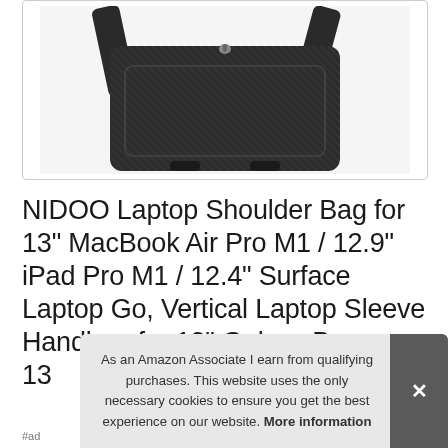[Figure (photo): Black laptop shoulder bag with crossbody strap on white background]
NIDOO Laptop Shoulder Bag for 13" MacBook Air Pro M1 / 12.9" iPad Pro M1 / 12.4" Surface Laptop Go, Vertical Laptop Sleeve Handbag for 13" Galaxy Bo 13
As an Amazon Associate I earn from qualifying purchases. This website uses the only necessary cookies to ensure you get the best experience on our website. More information
#ad